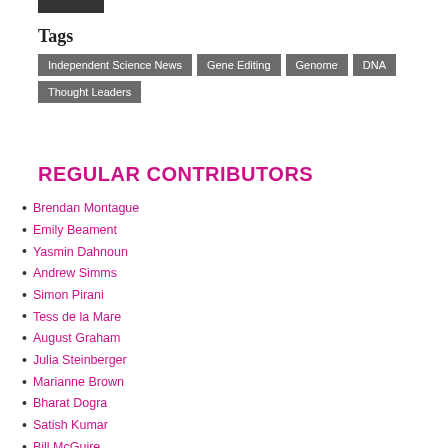[Figure (other): Dark/black rectangular bar at the top left of the page]
Tags
Independent Science News
Gene Editing
Genome
DNA
Thought Leaders
REGULAR CONTRIBUTORS
Brendan Montague
Emily Beament
Yasmin Dahnoun
Andrew Simms
Simon Pirani
Tess de la Mare
August Graham
Julia Steinberger
Marianne Brown
Bharat Dogra
Satish Kumar
Bill McGuire
Dalena Tran
Chris Saltmarsh